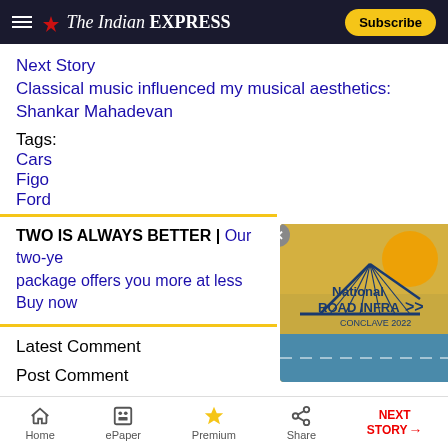The Indian EXPRESS | Subscribe
Next Story
Classical music influenced my musical aesthetics: Shankar Mahadevan
Tags:
Cars
Figo
Ford
TWO IS ALWAYS BETTER | Our two-ye package offers you more at less
Buy now
[Figure (infographic): National Road Infra Conclave 2022 advertisement banner with bridge illustration and road graphic on golden background]
Latest Comment
Post Comment
Read Comments
TOP CATEGORIES
Explained News
Political Pulse
Latest Opinion
Mumbai News
Home | ePaper | Premium | Share | NEXT STORY →